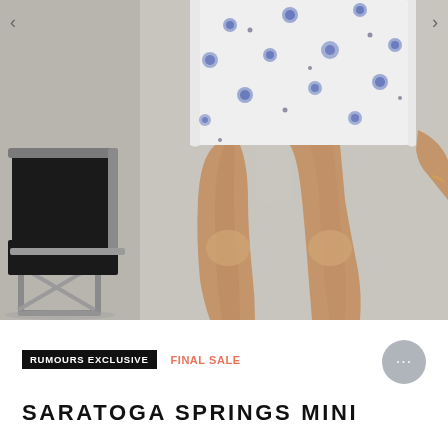[Figure (photo): A woman wearing a white mini skirt with blue floral print, standing next to a black leather and chrome chair. Only the lower torso and legs are visible. The background is a light grey/white wall.]
RUMOURS EXCLUSIVE
FINAL SALE
SARATOGA SPRINGS MINI